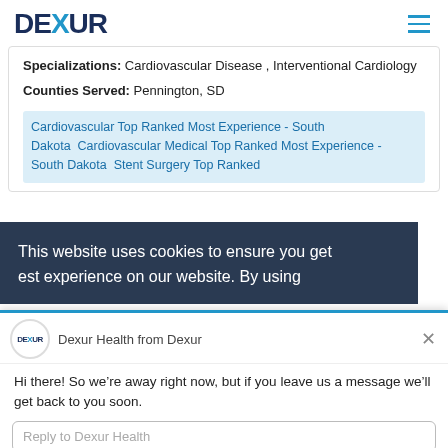DEXUR
Specializations: Cardiovascular Disease , Interventional Cardiology
Counties Served: Pennington, SD
Cardiovascular Top Ranked Most Experience - South Dakota  Cardiovascular Medical Top Ranked Most Experience - South Dakota  Stent Surgery Top Ranked
This website uses cookies to ensure you get [best] experience on our website. By using
Dexur Health from Dexur
Hi there! So we’re away right now, but if you leave us a message we’ll get back to you soon.
Reply to Dexur Health
Chat ⚡ by Drift